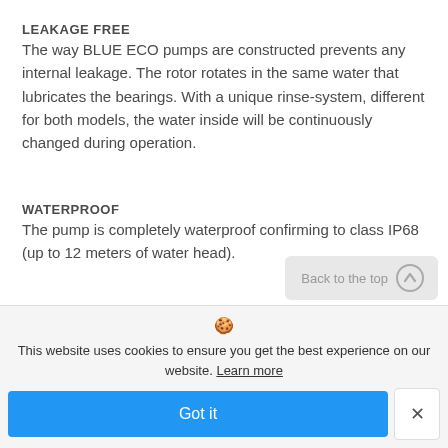LEAKAGE FREE
The way BLUE ECO pumps are constructed prevents any internal leakage. The rotor rotates in the same water that lubricates the bearings. With a unique rinse-system, different for both models, the water inside will be continuously changed during operation.
WATERPROOF
The pump is completely waterproof confirming to class IP68 (up to 12 meters of water head).
Back to the top
🍪 This website uses cookies to ensure you get the best experience on our website. Learn more
Got it